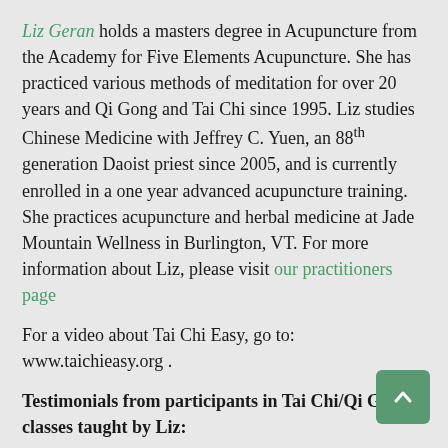Liz Geran holds a masters degree in Acupuncture from the Academy for Five Elements Acupuncture.  She has practiced various methods of meditation for over 20 years and Qi Gong and Tai Chi since 1995. Liz  studies Chinese Medicine with Jeffrey C. Yuen, an 88th generation Daoist priest since 2005, and is currently enrolled in a one year advanced acupuncture training.  She practices acupuncture and herbal medicine at Jade Mountain Wellness in Burlington, VT.  For more information about Liz, please visit our practitioners page
For a video about Tai Chi Easy, go to: www.taichieasy.org .
Testimonials from participants in Tai Chi/Qi Gong classes taught by Liz:
Dear Liz: